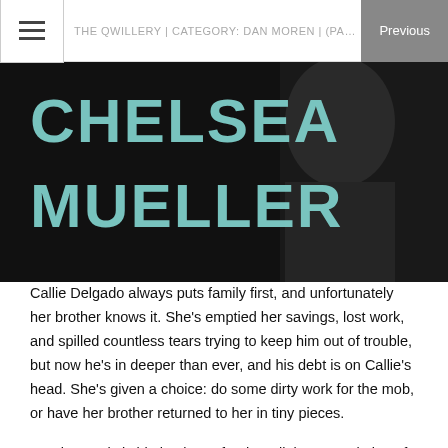THE QWILLERY | CATEGORY: DAN MOREN | (PAGE 2 OF
[Figure (photo): Book cover showing the text 'CHELSEA MUELLER' in large teal/mint letters on a dark background with a person's silhouette]
Callie Delgado always puts family first, and unfortunately her brother knows it. She's emptied her savings, lost work, and spilled countless tears trying to keep him out of trouble, but now he's in deeper than ever, and his debt is on Callie's head. She's given a choice: do some dirty work for the mob, or have her brother returned to her in tiny pieces.
Renting souls is big business for the religious population of Gem City. Those looking to take part in immoral—or even illegal—activity can borrow someone else's soul, for a price, and sin without consequence.